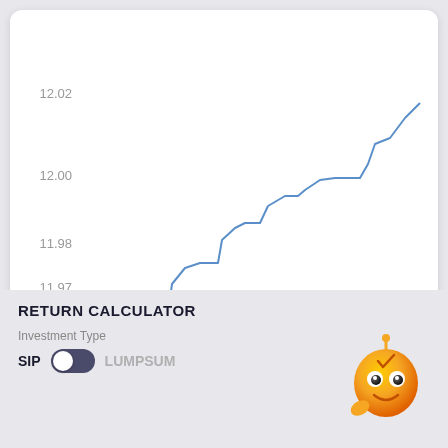[Figure (line-chart): Line chart showing NAV values from end of July through late August, stepping upward from 11.96 to approximately 12.03]
RETURN CALCULATOR
Investment Type
SIP  LUMPSUM